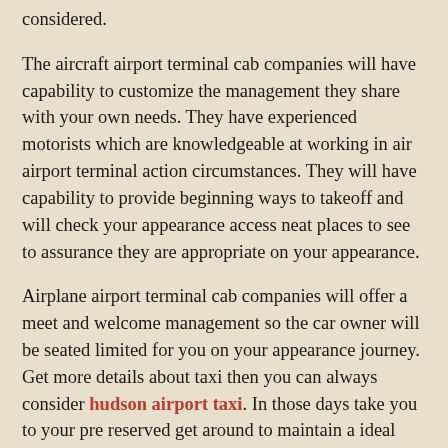considered.
The aircraft airport terminal cab companies will have capability to customize the management they share with your own needs. They have experienced motorists which are knowledgeable at working in air airport terminal action circumstances. They will have capability to provide beginning ways to takeoff and will check your appearance access neat places to see to assurance they are appropriate on your appearance.
Airplane airport terminal cab companies will offer a meet and welcome management so the car owner will be seated limited for you on your appearance journey. Get more details about taxi then you can always consider hudson airport taxi. In those days take you to your pre reserved get around to maintain a ideal range from the lines and group seeking to find out taxis without anyone else. The aircraft airport terminal cabs companies run armadas of flexible current automobiles with chilling and GPS frameworks so even the most complicated trip home will be in comfort and relaxing.